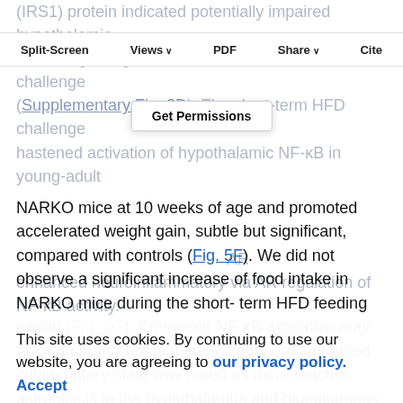(IRS1) protein indicated potentially impaired hypothalamic insulin signaling in NARKO mice under HFD challenge (Supplementary Fig. 2D). The short-term HFD challenge hastened activation of hypothalamic NF-κB in young-adult
Split-Screen | Views | PDF | Share | Cite
Get Permissions
NARKO mice at 10 weeks of age and promoted accelerated weight gain, subtle but significant, compared with controls (Fig. 5F). We did not observe a significant increase of food intake in NARKO mice during the short-term HFD feeding period (Fig. 5G). Enhanced NF-κB activation may favor a chronic inflammatory status. An increased inflammatory state was noted as more reactive astrogliosis in the hypothalamus and hippocampus of NARKO mice fed chow diets (Supplementary Fig. 2E).
This site uses cookies. By continuing to use our website, you are agreeing to our privacy policy. Accept
AR enhanced neuroinflammatory via AR regulation of NF-κB activity.